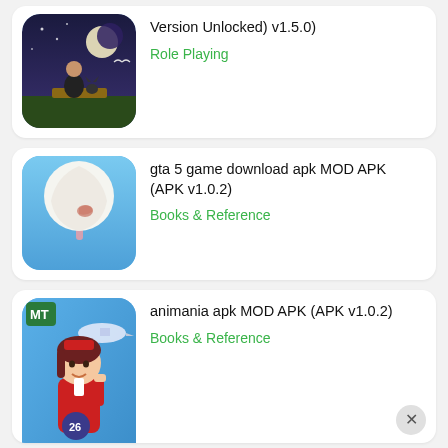[Figure (screenshot): App listing card (partial, top): game character scene icon. Text: 'Version Unlocked) v1.5.0)'. Category: 'Role Playing']
[Figure (screenshot): App listing card: candy/lollipop icon on blue background. Text: 'gta 5 game download apk MOD APK (APK v1.0.2)'. Category: 'Books & Reference']
[Figure (screenshot): App listing card (partial, bottom): My Town airport/stewardess game icon. Text: 'animania apk MOD APK (APK v1.0.2)'. Category: 'Books & Reference']